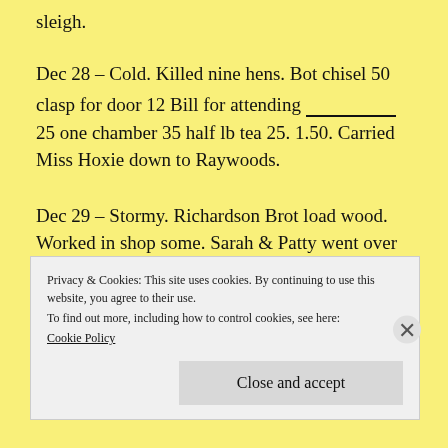sleigh.
Dec 28 – Cold. Killed nine hens. Bot chisel 50 clasp for door 12 Bill for attending __________ 25 one chamber 35 half lb tea 25. 1.50. Carried Miss Hoxie down to Raywoods.
Dec 29 – Stormy. Richardson Brot load wood. Worked in shop some. Sarah & Patty went over to Celia Newmans.
Privacy & Cookies: This site uses cookies. By continuing to use this website, you agree to their use.
To find out more, including how to control cookies, see here:
Cookie Policy
Close and accept